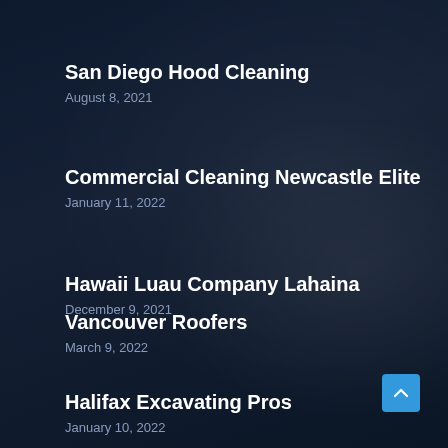San Diego Hood Cleaning
August 8, 2021
Commercial Cleaning Newcastle Elite
January 11, 2022
Hawaii Luau Company Lahaina
December 9, 2021
Vancouver Roofers
March 9, 2022
Halifax Excavating Pros
January 10, 2022